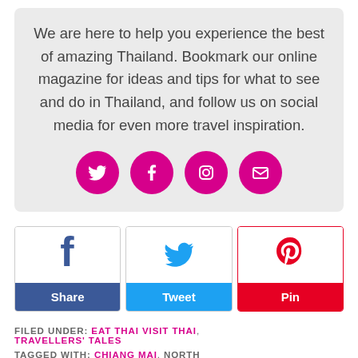We are here to help you experience the best of amazing Thailand. Bookmark our online magazine for ideas and tips for what to see and do in Thailand, and follow us on social media for even more travel inspiration.
[Figure (infographic): Four magenta/pink circular social media icons: Twitter, Facebook, Instagram, Email]
[Figure (infographic): Three social share buttons: Facebook Share (blue), Twitter Tweet (light blue), Pinterest Pin (red)]
FILED UNDER: EAT THAI VISIT THAI, TRAVELLERS' TALES
TAGGED WITH: CHIANG MAI, NORTH